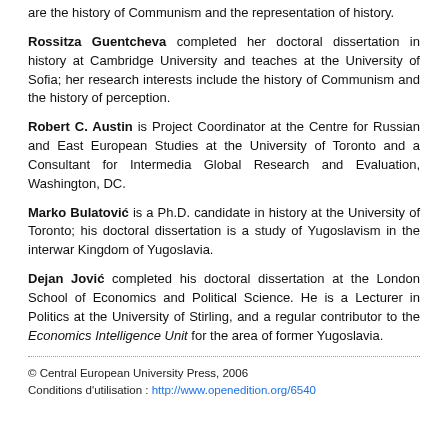are the history of Communism and the representation of history.
Rossitza Guentcheva completed her doctoral dissertation in history at Cambridge University and teaches at the University of Sofia; her research interests include the history of Communism and the history of perception.
Robert C. Austin is Project Coordinator at the Centre for Russian and East European Studies at the University of Toronto and a Consultant for Intermedia Global Research and Evaluation, Washington, DC.
Marko Bulatović is a Ph.D. candidate in history at the University of Toronto; his doctoral dissertation is a study of Yugoslavism in the interwar Kingdom of Yugoslavia.
Dejan Jović completed his doctoral dissertation at the London School of Economics and Political Science. He is a Lecturer in Politics at the University of Stirling, and a regular contributor to the Economics Intelligence Unit for the area of former Yugoslavia.
© Central European University Press, 2006
Conditions d'utilisation : http://www.openedition.org/6540